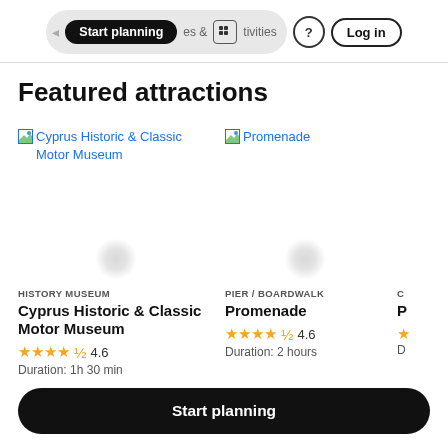Start planning · Places & Activities · ? · Log in
Featured attractions
[Figure (screenshot): Broken image placeholder link for Cyprus Historic & Classic Motor Museum]
[Figure (screenshot): Broken image placeholder link for Promenade]
HISTORY MUSEUM
Cyprus Historic & Classic Motor Museum
★★★★½ 4.6
Duration: 1h 30 min
PIER / BOARDWALK
Promenade
★★★★½ 4.6
Duration: 2 hours
Start planning